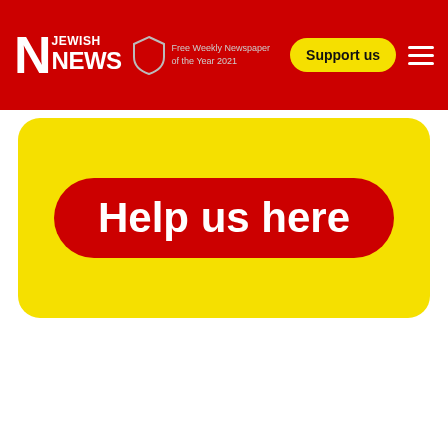Jewish News — Free Weekly Newspaper of the Year 2021 | Support us
[Figure (screenshot): Yellow rounded banner containing a large red rounded button with white bold text 'Help us here']